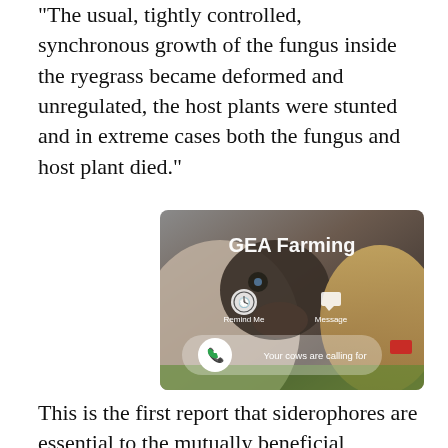“The usual, tightly controlled, synchronous growth of the fungus inside the ryegrass became deformed and unregulated, the host plants were stunted and in extreme cases both the fungus and host plant died.”
[Figure (photo): A smartphone incoming call screen showing 'GEA Farming' as the caller name, with 'Remind Me' and 'Message' options, a green phone icon, and text 'Your cows are calling for', overlaid on a close-up photo of cows.]
This is the first report that siderophores are essential to the mutually beneficial relationship between ryegrass